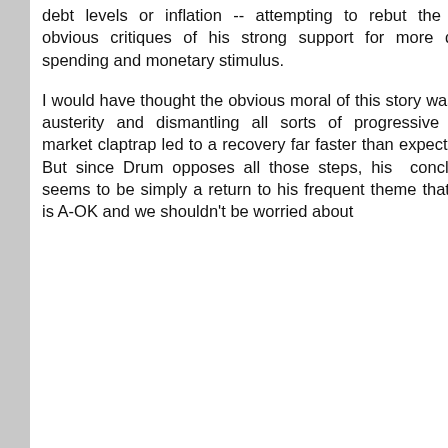debt levels or inflation -- attempting to rebut the most obvious critiques of his strong support for more deficit spending and monetary stimulus.
I would have thought the obvious moral of this story was that austerity and dismantling all sorts of progressive labor market claptrap led to a recovery far faster than expected**.  But since Drum opposes all those steps, his  conclusion seems to be simply a return to his frequent theme that debt is A-OK and we shouldn't be worried about
April 2014
March 2014
February 2014
January 2014
December 2013
November 2013
October 2013
September 2013
August 2013
July 2013
June 2013
May 2013
April 2013
March 2013
February 2013
January 2013
December 2012
November 2012
October 2012
September 2012
August 2012